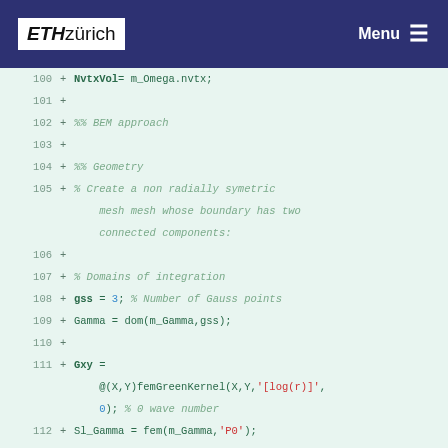ETH zürich  Menu
[Figure (screenshot): Code diff viewer showing lines 100-115 of a MATLAB/BEM script with line numbers, plus signs indicating additions, code in monospace font on light green background. Lines include NvtxVol assignment, BEM approach comment, Geometry comment, mesh creation comment, Domains of integration comment, gss=3, Gamma=dom, Gxy=@(X,Y)femGreenKernel with '[log(r)]' string and 0 wave number comment, Sl_Gamma=fem, Sl_Gamma2=fem, and Single layer potential comment.]